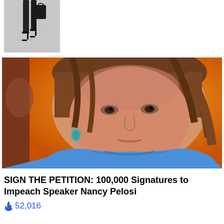[Figure (photo): Partial view of a person walking, showing legs and high heel shoes on a paved surface, cropped photo]
[Figure (photo): Close-up photo of Nancy Pelosi with an orange background, wearing a blue jacket and teal earrings]
SIGN THE PETITION: 100,000 Signatures to Impeach Speaker Nancy Pelosi
🔥 52,016